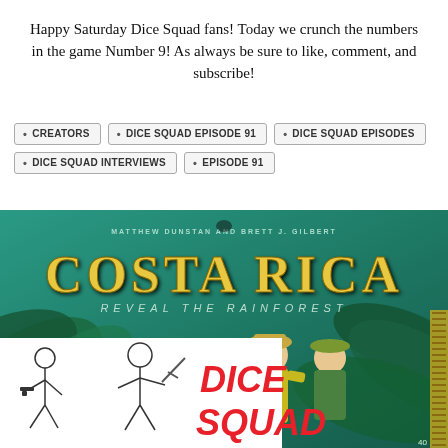Happy Saturday Dice Squad fans! Today we crunch the numbers in the game Number 9! As always be sure to like, comment, and subscribe!
CREATORS
DICE SQUAD EPISODE 91
DICE SQUAD EPISODES
DICE SQUAD INTERVIEWS
EPISODE 91
[Figure (illustration): Costa Rica board game box art showing two explorers in a rainforest, with 'COSTA RICA - REVEAL THE RAINFOREST' title and authors Matthew Dunstan and Brett J. Gilbert. Overlaid with a Dice Squad podcast logo showing two illustrated characters and red text 'DICE SQUAD'.]